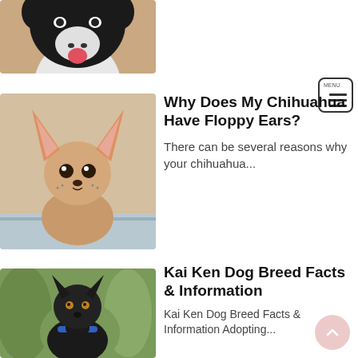[Figure (photo): Partial photo of a black and white dog (Bull Terrier type) smiling with tongue out, cropped at the top of the page]
[Figure (photo): Small icon/button showing a hamburger menu icon with three horizontal bars and a border]
[Figure (photo): Photo of a small tan/cream Chihuahua with large upright ears, sitting on a blanket, looking at the camera]
Why Does My Chihuahua Have Floppy Ears?
There can be several reasons why your chihuahua...
[Figure (photo): Photo of a black Kai Ken dog wearing a blue collar, standing outdoors among green plants]
Kai Ken Dog Breed Facts & Information
Kai Ken Dog Breed Facts & Information Adopting...